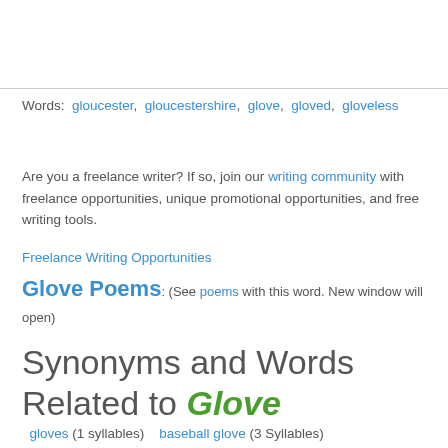Words: gloucester, gloucestershire, glove, gloved, gloveless
Are you a freelance writer? If so, join our writing community with freelance opportunities, unique promotional opportunities, and free writing tools.
Freelance Writing Opportunities
Glove Poems: (See poems with this word. New window will open)
Synonyms and Words Related to Glove
gloves (1 syllables)  baseball glove (3 Syllables)